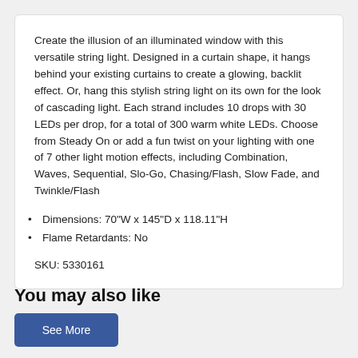Create the illusion of an illuminated window with this versatile string light. Designed in a curtain shape, it hangs behind your existing curtains to create a glowing, backlit effect. Or, hang this stylish string light on its own for the look of cascading light. Each strand includes 10 drops with 30 LEDs per drop, for a total of 300 warm white LEDs. Choose from Steady On or add a fun twist on your lighting with one of 7 other light motion effects, including Combination, Waves, Sequential, Slo-Go, Chasing/Flash, Slow Fade, and Twinkle/Flash
Dimensions: 70"W x 145"D x 118.11"H
Flame Retardants: No
SKU: 5330161
You may also like